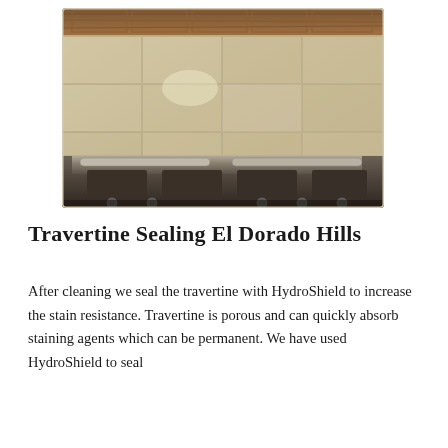[Figure (photo): Interior kitchen photo showing large travertine tiles on the wall behind a stainless steel stove/range with wooden ceiling visible at top.]
Travertine Sealing El Dorado Hills
After cleaning we seal the travertine with HydroShield to increase the stain resistance. Travertine is porous and can quickly absorb staining agents which can be permanent. We have used HydroShield to seal